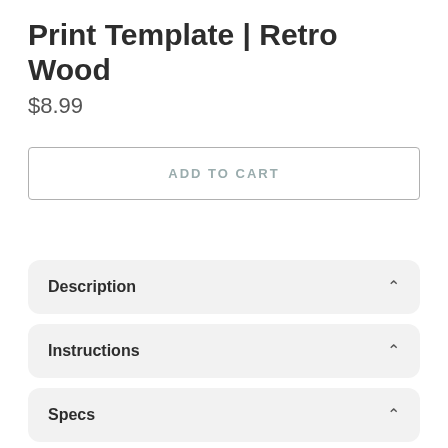Print Template | Retro Wood
$8.99
ADD TO CART
Description
Instructions
Specs